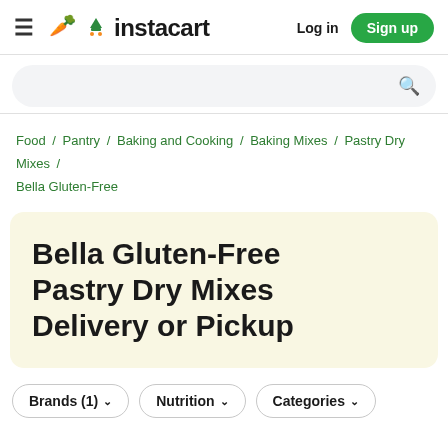≡ instacart  Log in  Sign up
Search bar
Food / Pantry / Baking and Cooking / Baking Mixes / Pastry Dry Mixes / Bella Gluten-Free
Bella Gluten-Free Pastry Dry Mixes Delivery or Pickup
Brands (1) ∨   Nutrition ∨   Categories ∨